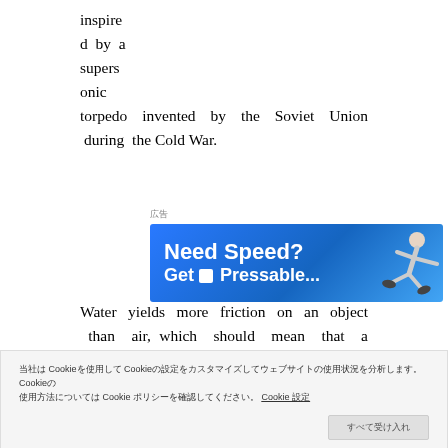inspired by a supersonic torpedo invented by the Soviet Union during the Cold War.
[Figure (screenshot): Advertisement banner with blue background showing 'Need Speed? Get Pressable...' with a person leaping across the banner.]
Water yields more friction on an object than air, which should mean that a submerged boat or weapon could never travel at the same speed as
Cookie notice text in Japanese/CJK characters mentioning Cookie policy with a button
science — a process known as 'supercavitation'.